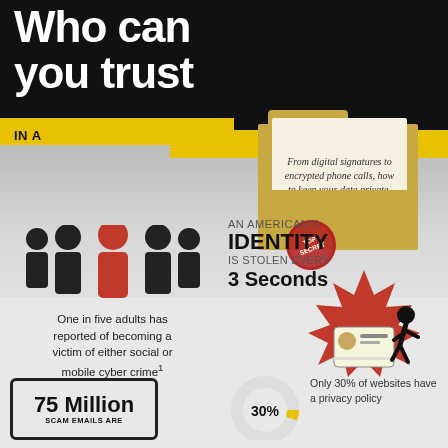Who can you trust IN A DIGITAL WORLD?
From digital signatures to encrypted phone calls, how to keep your data private.
[Figure (infographic): Five person silhouette icons, one in red (center) and four in black, illustrating one in five adults statistic]
One in five adults has reported of becoming a victim of either social or mobile cyber crime¹
AN AMERICAN'S IDENTITY IS STOLEN EVERY 3 SECONDS
[Figure (illustration): Thief running with stolen ID card, red starburst background]
75 MILLION SCAM EMAILS ARE
[Figure (donut-chart): Partial donut chart showing 30% in yellow/gold]
Only 30% of websites have a privacy policy